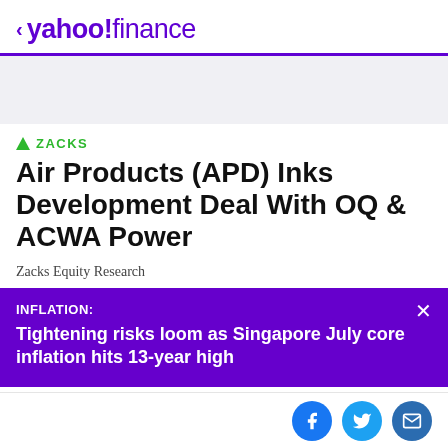< yahoo!finance
[Figure (other): Gray advertisement banner placeholder]
▲ ZACKS
Air Products (APD) Inks Development Deal With OQ & ACWA Power
Zacks Equity Research
INFLATION: Tightening risks loom as Singapore July core inflation hits 13-year high